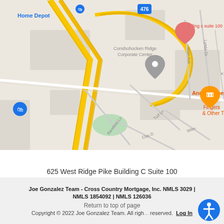[Figure (map): Google Maps screenshot showing location near Conshohocken Ridge Corporate Center, with markers for building c suite 100, Andy's Diner & Pub, Home Depot, and other nearby streets including Barefield Ln, Turf Ln, Clay Dr, Wilm, Main Ave, Lynda Dr. Highway 476 is visible.]
625 West Ridge Pike Building C Suite 100
Conshohocken, PA 19428
Joe Gonzalez Team - Cross Country Mortgage, Inc. NMLS 3029 | NMLS 1854092 | NMLS 126036
Return to top of page
Copyright © 2022 Joe Gonzalez Team. All rights reserved.  Log In